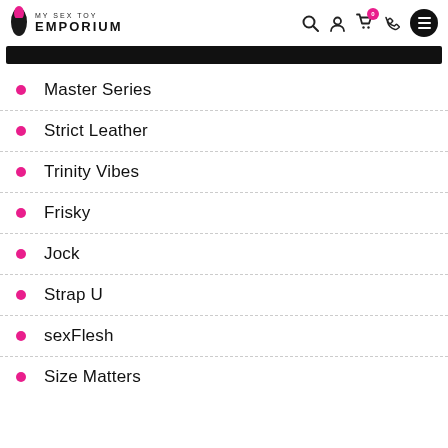MY SEX TOY EMPORIUM
Master Series
Strict Leather
Trinity Vibes
Frisky
Jock
Strap U
sexFlesh
Size Matters